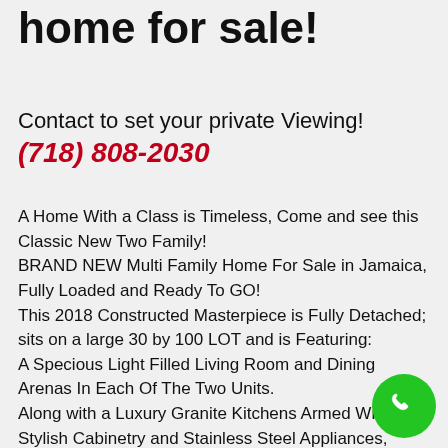home for sale!
Contact to set your private Viewing!
(718) 808-2030
A Home With a Class is Timeless, Come and see this Classic New Two Family!
BRAND NEW Multi Family Home For Sale in Jamaica, Fully Loaded and Ready To GO!
This 2018 Constructed Masterpiece is Fully Detached; sits on a large 30 by 100 LOT and is Featuring:
A Specious Light Filled Living Room and Dining Arenas In Each Of The Two Units.
Along with a Luxury Granite Kitchens Armed With Stylish Cabinetry and Stainless Steel Appliances,
The Bedroom Layout Consists of a 3 Over 3 Sized Bedrooms And Totaling A 5 Designer's Bathrooms ea. FL)
[Figure (illustration): Green circular phone call button icon in bottom-right corner]